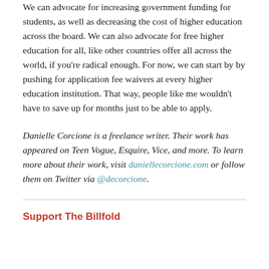We can advocate for increasing government funding for students, as well as decreasing the cost of higher education across the board. We can also advocate for free higher education for all, like other countries offer all across the world, if you're radical enough. For now, we can start by by pushing for application fee waivers at every higher education institution. That way, people like me wouldn't have to save up for months just to be able to apply.
Danielle Corcione is a freelance writer. Their work has appeared on Teen Vogue, Esquire, Vice, and more. To learn more about their work, visit daniellecorcione.com or follow them on Twitter via @decorcione.
Support The Billfold